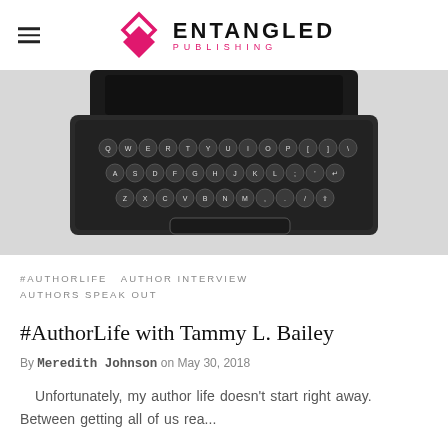ENTANGLED PUBLISHING
[Figure (photo): Top-down view of a vintage black typewriter keyboard showing rows of circular keys with letters, on a white/light grey background]
#AUTHORLIFE   AUTHOR INTERVIEW   AUTHORS SPEAK OUT
#AuthorLife with Tammy L. Bailey
By Meredith Johnson on May 30, 2018
Unfortunately, my author life doesn't start right away. Between getting all of us rea...